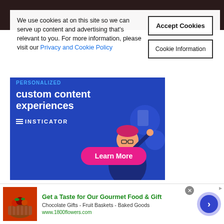We use cookies at on this site so we can serve up content and advertising that's relevant to you. For more information, please visit our Privacy and Cookie Policy
Accept Cookies
Cookie Information
[Figure (illustration): Insticator advertisement banner with blue background, text reading 'custom content experiences', Insticator logo, and a pink 'Learn More' button with a cartoon character illustration]
[Figure (illustration): Advertisement banner with blue background and text 'Boost your site's']
[Figure (illustration): 1800flowers.com advertisement: Get a Taste for Our Gourmet Food & Gift - Chocolate Gifts - Fruit Baskets - Baked Goods - www.1800flowers.com]